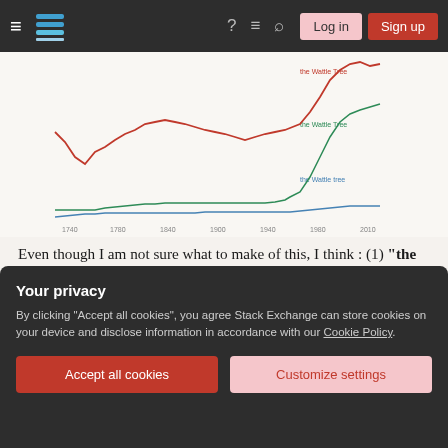Stack Exchange navigation bar with Log in and Sign up buttons
[Figure (line-chart): Line chart showing three series over time (approx 1740-2010): red line (the Wattle Tree) high and increasing sharply at end; green line (the Wattle Tree) rising steeply at end; blue line (the Wattle tree) nearly flat near bottom]
Even though I am not sure what to make of this, I think : (1) "the Wattle Tree" is currently used, and is increasing in usage ; (2) "the Wattle tree" is not common ; & (3) "the wattle tree" is very common in general, but may not be suitable in the "Sacred Sense" required by OP.
Your privacy
By clicking "Accept all cookies", you agree Stack Exchange can store cookies on your device and disclose information in accordance with our Cookie Policy.
Accept all cookies
Customize settings